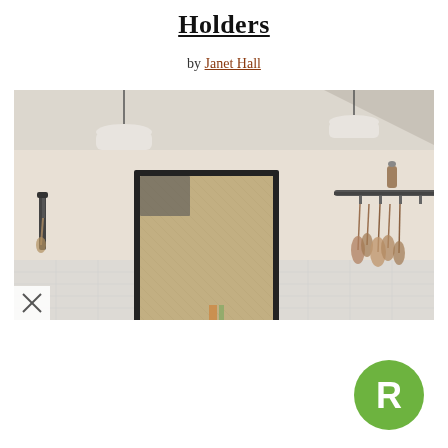Holders
by Janet Hall
[Figure (photo): Interior room with white walls showing two framed artworks/mirrors hung on the wall with curtain rods. Dried flower bunches hang from rods between the frames. Two pendant lights hang from the ceiling. White tile wainscoting on the lower wall. A small 'x' label appears at the bottom left corner of the photo.]
[Figure (logo): Green circular badge with white letter R in the center]